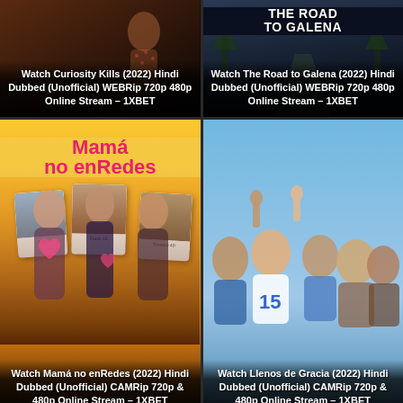[Figure (photo): Movie thumbnail for Watch Curiosity Kills (2022) Hindi Dubbed (Unofficial) WEBRip 720p 480p Online Stream - 1XBET]
[Figure (photo): Movie thumbnail for Watch The Road to Galena (2022) Hindi Dubbed (Unofficial) WEBRip 720p 480p Online Stream - 1XBET]
[Figure (photo): Movie thumbnail for Watch Mamá no enRedes (2022) Hindi Dubbed (Unofficial) CAMRip 720p & 480p Online Stream - 1XBET]
[Figure (photo): Movie thumbnail for Watch Llenos de Gracia (2022) Hindi Dubbed (Unofficial) CAMRip 720p & 480p Online Stream - 1XBET]
[Figure (photo): Partial movie thumbnail at bottom left (cut off)]
[Figure (photo): Partial movie thumbnail at bottom right (cut off)]